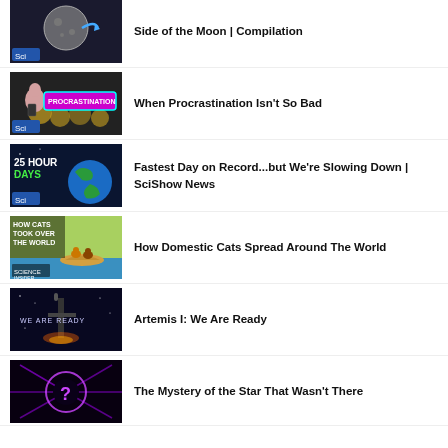[Figure (screenshot): Thumbnail of moon surface with SciShow logo and arrow - Side of the Moon Compilation]
Side of the Moon | Compilation
[Figure (screenshot): Thumbnail showing girl with PROCRASTINATION text overlay - SciShow]
When Procrastination Isn't So Bad
[Figure (screenshot): Thumbnail with '25 HOUR DAYS' text and Earth in space - SciShow News]
Fastest Day on Record...but We're Slowing Down | SciShow News
[Figure (screenshot): Thumbnail with 'HOW CATS TOOK OVER THE WORLD' text and animated cats on boat - Science Insider]
How Domestic Cats Spread Around The World
[Figure (screenshot): Thumbnail with 'WE ARE READY' text over space launch scene]
Artemis I: We Are Ready
[Figure (screenshot): Thumbnail with purple question mark on dark background - mystery star]
The Mystery of the Star That Wasn't There